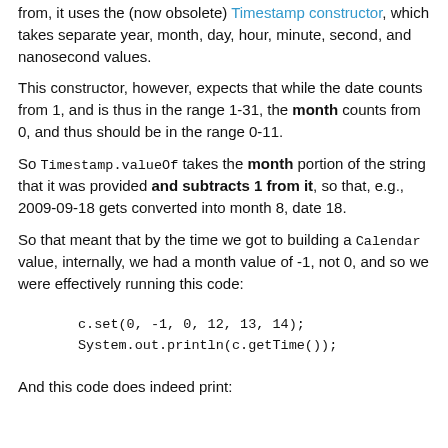from, it uses the (now obsolete) Timestamp constructor, which takes separate year, month, day, hour, minute, second, and nanosecond values.
This constructor, however, expects that while the date counts from 1, and is thus in the range 1-31, the month counts from 0, and thus should be in the range 0-11.
So Timestamp.valueOf takes the month portion of the string that it was provided and subtracts 1 from it, so that, e.g., 2009-09-18 gets converted into month 8, date 18.
So that meant that by the time we got to building a Calendar value, internally, we had a month value of -1, not 0, and so we were effectively running this code:
c.set(0, -1, 0, 12, 13, 14);
System.out.println(c.getTime());
And this code does indeed print: